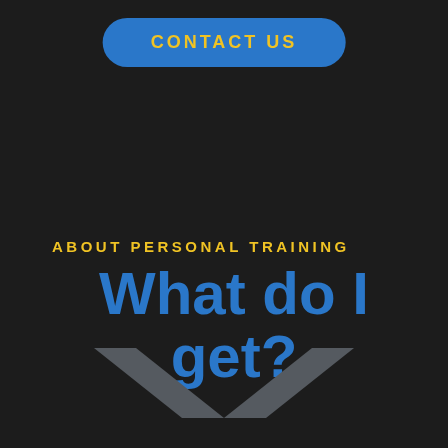CONTACT US
ABOUT PERSONAL TRAINING
What do I get?
[Figure (illustration): A large dark grey downward-pointing chevron/arrow shape at the bottom of the page]